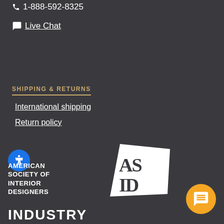1-888-592-8325
Live Chat
SHIPPING & RETURNS
International shipping
Return policy
[Figure (logo): ASID - American Society of Interior Designers logo with geometric AS/ID letterform in white on dark background]
INDUSTRY